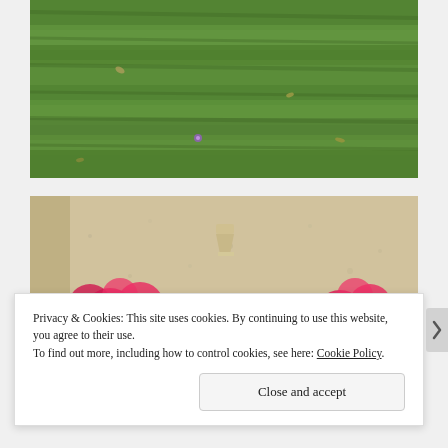[Figure (photo): Aerial view of a green grass lawn with some scattered dried leaves and a small purple flower visible]
[Figure (photo): Bright pink/magenta bougainvillea flowers against a beige stucco wall with a light fixture mounted on the wall]
Privacy & Cookies: This site uses cookies. By continuing to use this website, you agree to their use.
To find out more, including how to control cookies, see here: Cookie Policy